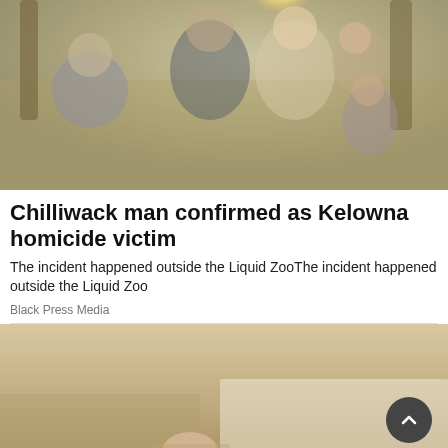[Figure (photo): Family photo showing a man, woman, and three children outdoors in a natural setting with trees and warm lighting]
Chilliwack man confirmed as Kelowna homicide victim
The incident happened outside the Liquid ZooThe incident happened outside the Liquid Zoo
Black Press Media
[Figure (photo): Interior room photo showing a partially painted wall, with a bald person visible in the lower portion of the image. A scroll-to-top button overlay is visible in the lower right.]